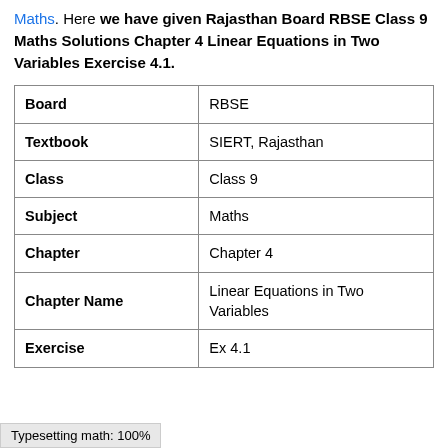Maths. Here we have given Rajasthan Board RBSE Class 9 Maths Solutions Chapter 4 Linear Equations in Two Variables Exercise 4.1.
| Board | RBSE |
| Textbook | SIERT, Rajasthan |
| Class | Class 9 |
| Subject | Maths |
| Chapter | Chapter 4 |
| Chapter Name | Linear Equations in Two Variables |
| Exercise | Ex 4.1 |
Typesetting math: 100%